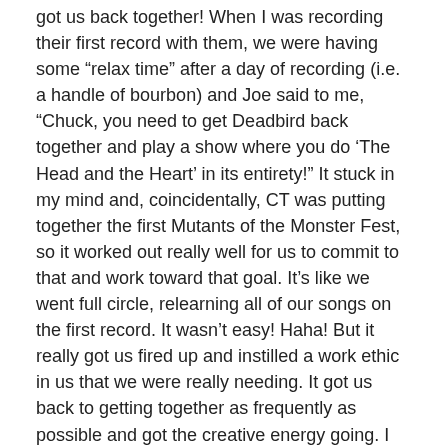got us back together! When I was recording their first record with them, we were having some “relax time” after a day of recording (i.e. a handle of bourbon) and Joe said to me, “Chuck, you need to get Deadbird back together and play a show where you do ‘The Head and the Heart’ in its entirety!” It stuck in my mind and, coincidentally, CT was putting together the first Mutants of the Monster Fest, so it worked out really well for us to commit to that and work toward that goal. It’s like we went full circle, relearning all of our songs on the first record. It wasn’t easy! Haha! But it really got us fired up and instilled a work ethic in us that we were really needing. It got us back to getting together as frequently as possible and got the creative energy going. I can’t thank Joe enough! Thank you, Joe,!
AS: We haven’t ever really stopped. There have been